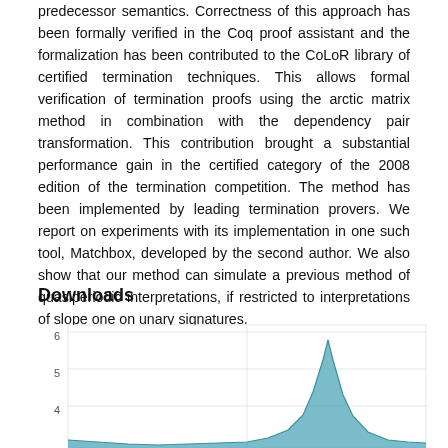predecessor semantics. Correctness of this approach has been formally verified in the Coq proof assistant and the formalization has been contributed to the CoLoR library of certified termination techniques. This allows formal verification of termination proofs using the arctic matrix method in combination with the dependency pair transformation. This contribution brought a substantial performance gain in the certified category of the 2008 edition of the termination competition. The method has been implemented by leading termination provers. We report on experiments with its implementation in one such tool, Matchbox, developed by the second author. We also show that our method can simulate a previous method of quasiperiodic interpretations, if restricted to interpretations of slope one on unary signatures.
Downloads
[Figure (area-chart): Area chart showing downloads over time with y-axis labels 4, 5, 6 visible and a peak shape in blue-teal color on the right side of the chart.]